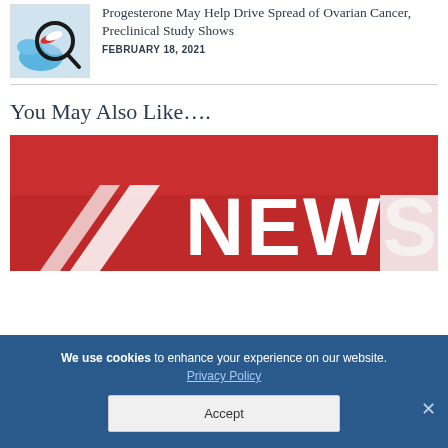[Figure (photo): Thumbnail photo of gloved hands holding red and white capsule pills with a magnifying glass]
Progesterone May Help Drive Spread of Ovarian Cancer, Preclinical Study Shows
FEBRUARY 18, 2021
You May Also Like….
[Figure (photo): Red background with large white text reading NEWS]
We use cookies to enhance your experience on our website. Privacy Policy Accept